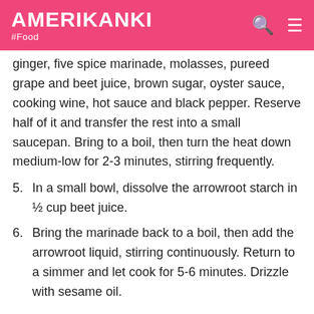AMERIKANKI #Food
ginger, five spice marinade, molasses, pureed grape and beet juice, brown sugar, oyster sauce, cooking wine, hot sauce and black pepper. Reserve half of it and transfer the rest into a small saucepan. Bring to a boil, then turn the heat down medium-low for 2-3 minutes, stirring frequently.
5. In a small bowl, dissolve the arrowroot starch in ½ cup beet juice.
6. Bring the marinade back to a boil, then add the arrowroot liquid, stirring continuously. Return to a simmer and let cook for 5-6 minutes. Drizzle with sesame oil.